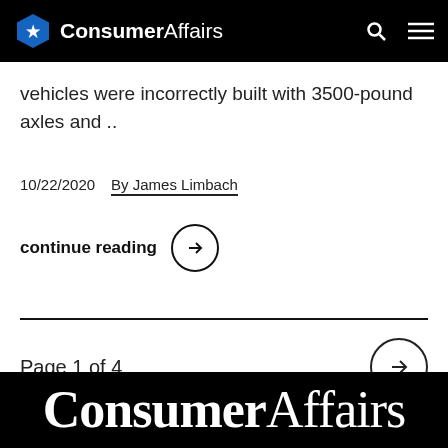ConsumerAffairs
vehicles were incorrectly built with 3500-pound axles and ..
10/22/2020   By James Limbach
continue reading →
Page 1 of 4
[Figure (logo): ConsumerAffairs logo in white text on black background at bottom of page]